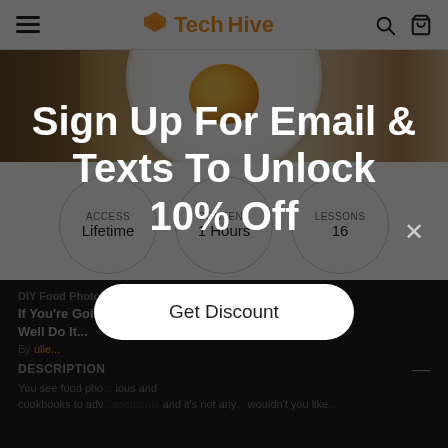TechHive
[Figure (photo): Overhead view of a white plate with food (appears to be an orange or citrus-topped dish) on a wooden/textile surface]
ACCESS
Lifetime
CONTENT
1 Hours
LESSONS
16
DIY Food Photography
If You're Going to Instagram Your Food, You Might as Well Do It...
By [author link]
DESCRIPTION
You see food pho... ious and cookbooks to adv...asements and it's not any... wouldn't you like...
Sign Up For Email & Texts To Unlock 10% Off
Get Discount